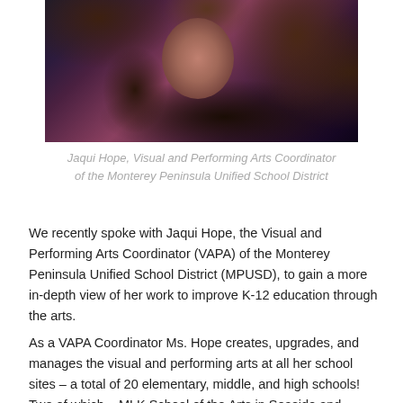[Figure (photo): Close-up photo of Jaqui Hope, a woman with long brown highlighted hair, looking down. She is wearing glasses and a necklace, with a dark background.]
Jaqui Hope, Visual and Performing Arts Coordinator of the Monterey Peninsula Unified School District
We recently spoke with Jaqui Hope, the Visual and Performing Arts Coordinator (VAPA) of the Monterey Peninsula Unified School District (MPUSD), to gain a more in-depth view of her work to improve K-12 education through the arts.
As a VAPA Coordinator Ms. Hope creates, upgrades, and manages the visual and performing arts at all her school sites – a total of 20 elementary, middle, and high schools! Two of which – MLK School of the Arts in Seaside and